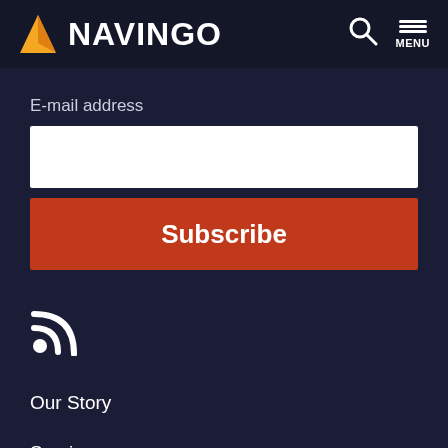NAVINGO
E-mail address
Subscribe
[Figure (illustration): RSS feed icon]
Our Story
Services